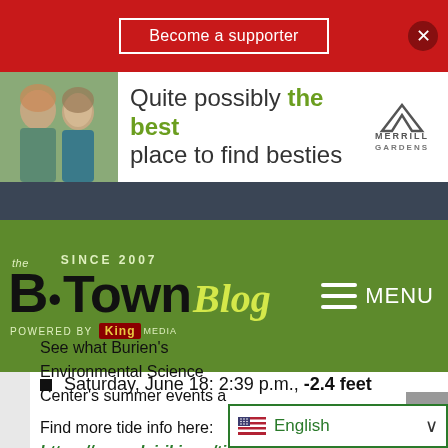[Figure (screenshot): Red banner with 'Become a supporter' button and close X]
[Figure (screenshot): Advertisement banner: 'Quite possibly the best place to find besties' with Merrill Gardens logo and photo of two elderly women]
[Figure (screenshot): Dark navigation bar]
[Figure (logo): B-Town Blog logo since 2007, powered by King Media, with MENU hamburger icon on green background]
Saturday, June 18: 2:39 p.m., -2.4 feet
Find more tide info here: https://www.dairiki.org/tides/monthly.php/sea
See what Burien's Environmental Science Center's summer events a...
[Figure (screenshot): English language selector dropdown at bottom right]